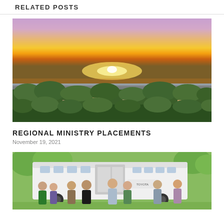RELATED POSTS
[Figure (photo): Aerial sunset photo over a suburban coastal town with lush green trees, houses, and water in the background under a vibrant orange and purple sky]
REGIONAL MINISTRY PLACEMENTS
November 19, 2021
[Figure (photo): Group photo of eight people standing in front of a white bus outdoors with trees in the background]